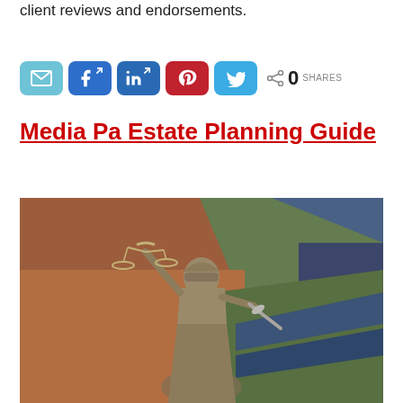client reviews and endorsements.
[Figure (screenshot): Social sharing buttons row: email (light blue), Facebook (blue with external link icon), LinkedIn (blue with external link icon), Pinterest (red), Twitter (light blue), and a share count showing 0 SHARES]
Media Pa Estate Planning Guide
[Figure (photo): Photo of Lady Justice statue (bronze/silver) holding scales and sword, with colorful law books in the background]